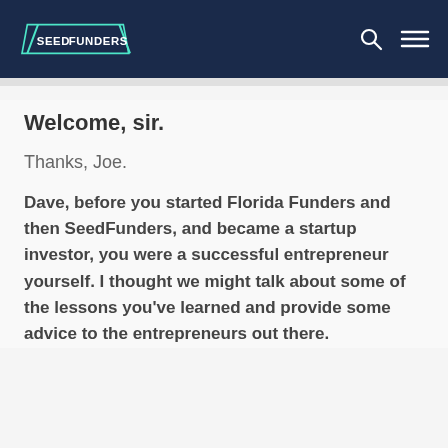SEEDFUNDERS
Welcome, sir.
Thanks, Joe.
Dave, before you started Florida Funders and then SeedFunders, and became a startup investor, you were a successful entrepreneur yourself. I thought we might talk about some of the lessons you've learned and provide some advice to the entrepreneurs out there.